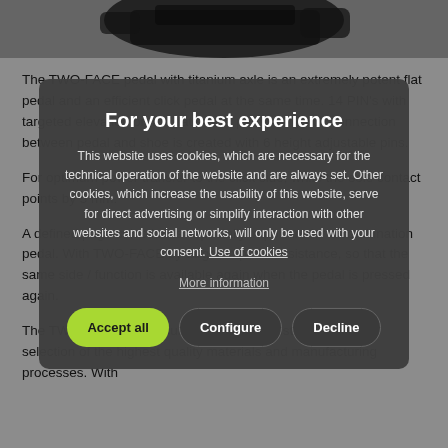[Figure (photo): Partial photo of a bicycle pedal (TWO-FACE pedal with titanium axle) against a gray background, showing dark metallic hardware]
The TWO-FACE pedal with titanium axle is an extremely potent flat pedal and an efficient click pedal at the same time. 14 PIN's with targeted elevation on the flat side a particularly rich connection between pedal and shoe is created with 6 height adjustable pins.
For optimum power transfer to the click side, while the sole contact points by 5 mm.
A defined page selection is especially important for a combination pedal. With TWO-FACE by targeted pedal resistance, so that the same side / function is available again when the pedal is pressed again.
The TWO-FACE is particularly light and resistant due to the selection of the highest quality materials and manufacturing processes. With
[Figure (screenshot): Cookie consent modal overlay with title 'For your best experience', explanatory text about cookie usage, a 'More information' link, and three buttons: 'Accept all' (green), 'Configure' (dark), 'Decline' (dark)]